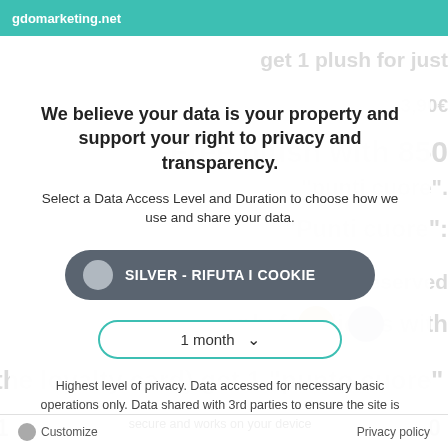gdomarketing.net
We believe your data is your property and support your right to privacy and transparency.
Select a Data Access Level and Duration to choose how we use and share your data.
SILVER - RIFUTA I COOKIE
1 month
Highest level of privacy. Data accessed for necessary basic operations only. Data shared with 3rd parties to ensure the site is secure and works on your device
Save my preferences
Customize
Privacy policy